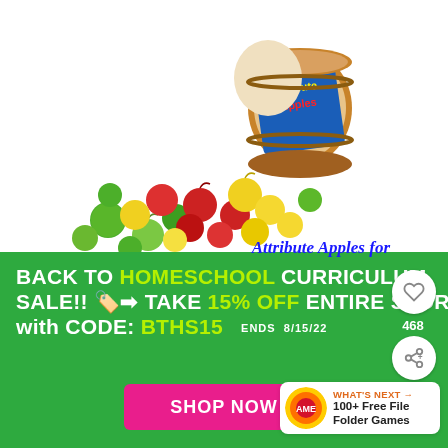[Figure (photo): A wooden barrel tipped on its side with colorful red, yellow, and green plastic apples spilling out. The barrel has a blue label reading 'Attribute Apples'. White background.]
Attribute Apples for
BACK TO HOMESCHOOL CURRICULUM SALE!!  🏷️➡  TAKE 15% OFF ENTIRE STORE with CODE: BTHS15    ENDS  8/15/22
SHOP NOW
WHAT'S NEXT → 100+ Free File Folder Games